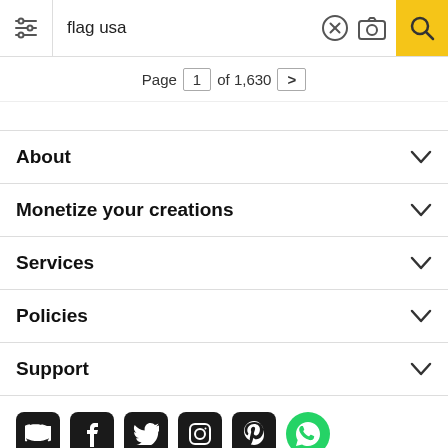[Figure (screenshot): Search bar with filter icon, 'flag usa' query text, clear (X) button, camera icon, and yellow search button]
Page 1 of 1,630 >
About
Monetize your creations
Services
Policies
Support
[Figure (infographic): Social media icons row: Discord, Facebook, Twitter, Instagram, Pinterest, WhatsApp]
All rights reserved. © Inmagine Lab Pte Ltd 2022.